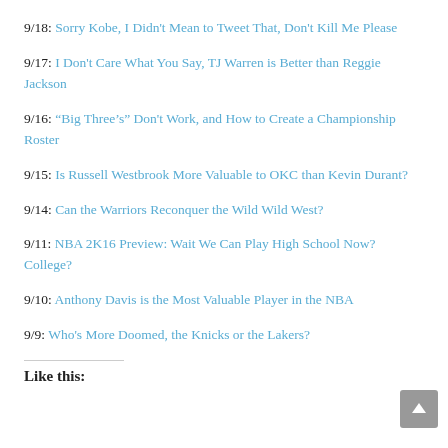9/18: Sorry Kobe, I Didn't Mean to Tweet That, Don't Kill Me Please
9/17: I Don't Care What You Say, TJ Warren is Better than Reggie Jackson
9/16: "Big Three's" Don't Work, and How to Create a Championship Roster
9/15: Is Russell Westbrook More Valuable to OKC than Kevin Durant?
9/14: Can the Warriors Reconquer the Wild Wild West?
9/11: NBA 2K16 Preview: Wait We Can Play High School Now? College?
9/10: Anthony Davis is the Most Valuable Player in the NBA
9/9: Who's More Doomed, the Knicks or the Lakers?
Like this: